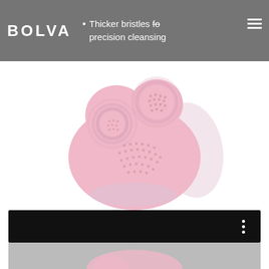BOLVA
Thicker bristles for precision cleansing
[Figure (photo): Pink silicone facial cleansing brush device (BOLVA brand) shown with close-up detail circles highlighting the thicker bristles on the front face and a motion-blur shadow to the right. The device is heart-shaped/rounded with fine silicone bristles and a transparent base.]
[Figure (screenshot): Bottom thumbnail strip showing a dark/black video player bar with three-dot menu icon, and below it a preview image of the same pink facial cleansing brush.]